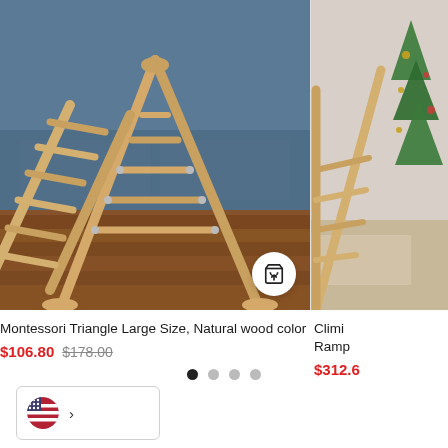[Figure (photo): Montessori wooden triangle climbing frame in natural wood color, photographed on hardwood floor with blue sofa in background. Add to cart button visible in bottom right of image.]
Montessori Triangle Large Size, Natural wood color
$106.80  $178.00
[Figure (photo): Partial view of a climbing triangle with ramp product, photographed near a Christmas tree. Image is cropped on the right side.]
Climbing Triangle with Ramp
$312.6